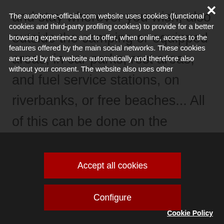and stay wherever you wish, also outside the camping or equipped areas, in car parks, rest areas, and fuel service stations, on riverbanks, or free beaches... All of this can be done on the condition that the overall
The autohome-official.com website uses cookies (functional cookies and third-party profiling cookies) to provide for a better browsing experience and to offer, when online, access to the features offered by the main social networks. These cookies are used by the website automatically and therefore also without your consent. The website also uses other
Accept all cookies
Configure
Cookie Policy